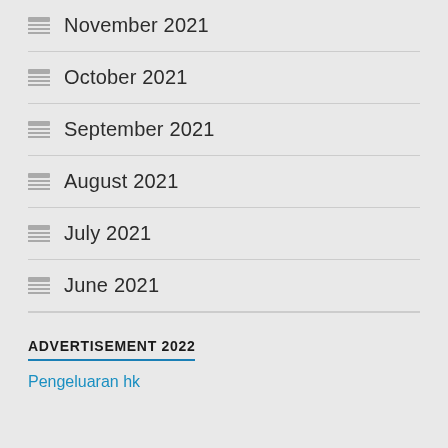November 2021
October 2021
September 2021
August 2021
July 2021
June 2021
ADVERTISEMENT 2022
Pengeluaran hk